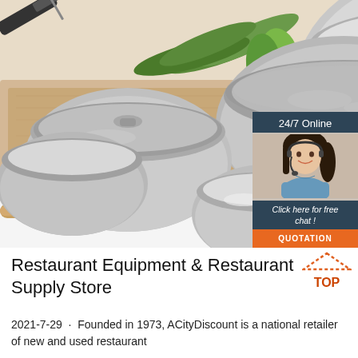[Figure (photo): Photo of stainless steel mixing bowls with lids on a wooden cutting board, with vegetables (green onions, peppers, tomato) in the background. A chat widget overlay in the top-right shows '24/7 Online', a female customer service representative with headset, 'Click here for free chat!', and an orange 'QUOTATION' button.]
Restaurant Equipment & Restaurant Supply Store
2021-7-29 · Founded in 1973, ACityDiscount is a national retailer of new and used restaurant